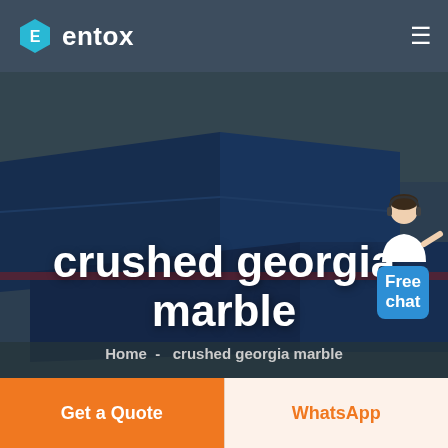[Figure (logo): Entox logo with hexagon icon and white text 'entox' on dark blue-grey navigation bar]
[Figure (photo): Aerial view of industrial factory/warehouse complex with blue roofs, overlaid with semi-transparent dark layer; large bold white text 'crushed georgia marble' and breadcrumb 'Home - crushed georgia marble'; Free chat widget with person icon in top-right corner]
Get a Quote
WhatsApp